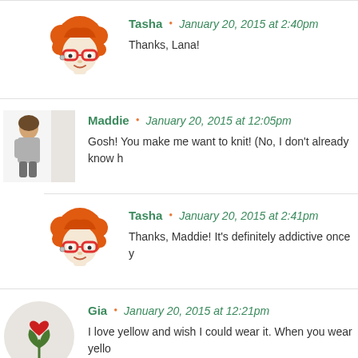[Figure (illustration): Avatar illustration of Tasha - cartoon face with red hair and red glasses]
Tasha • January 20, 2015 at 2:40pm
Thanks, Lana!
[Figure (photo): Photo of Maddie - person standing against white wall in grey top]
Maddie • January 20, 2015 at 12:05pm
Gosh! You make me want to knit! (No, I don't already know h
[Figure (illustration): Avatar illustration of Tasha - cartoon face with red hair and red glasses]
Tasha • January 20, 2015 at 2:41pm
Thanks, Maddie! It's definitely addictive once y
[Figure (illustration): Avatar of Gia - partial circular avatar with heart/plant icon]
Gia • January 20, 2015 at 12:21pm
I love yellow and wish I could wear it. When you wear yello